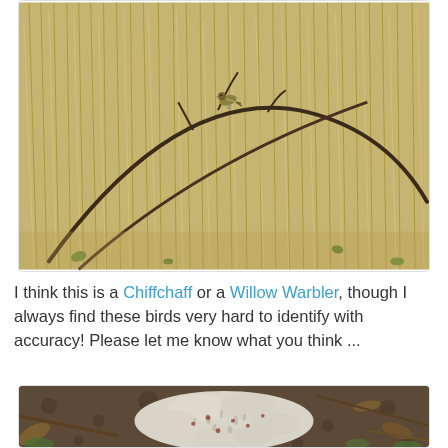[Figure (photo): A small bird (Chiffchaff or Willow Warbler) perched among dry grass stems and dark curved branches in a natural outdoor setting.]
I think this is a Chiffchaff or a Willow Warbler, though I always find these birds very hard to identify with accuracy! Please let me know what you think ...
[Figure (photo): A white crustose lichen growing on the ground among dead leaves, small pebbles, and dry sticks.]